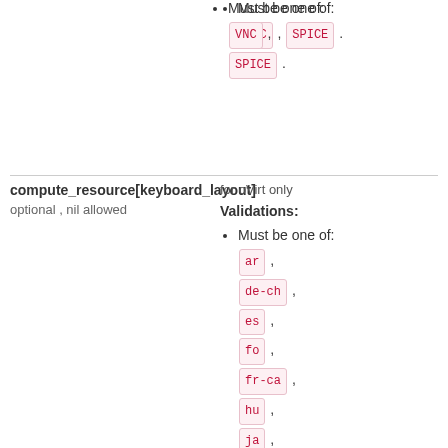Must be one of: VNC , SPICE .
compute_resource[keyboard_layout]
optional , nil allowed
for oVirt only
Validations:
Must be one of: ar , de-ch , es , fo , fr-ca , hu , ja , mk , no , pt-br , sv , da , en-gb , et ,